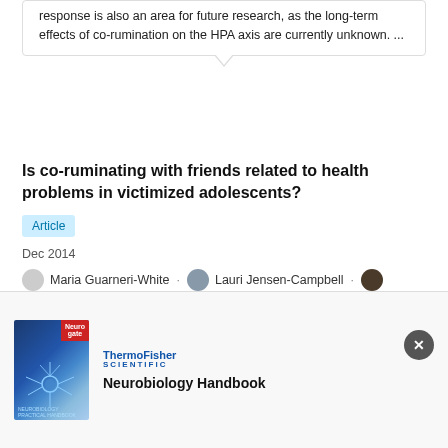response is also an area for future research, as the long-term effects of co-rumination on the HPA axis are currently unknown. ...
Is co-ruminating with friends related to health problems in victimized adolescents?
Article
Dec 2014
Maria Guarneri-White · Lauri Jensen-Campbell · Jennifer M Knack
View   Show abstract
Advertisement
Prior work has emphasized the importance of
[Figure (other): ThermoFisher Scientific Neurobiology Handbook advertisement banner with book cover showing neuron illustration]
Neurobiology Handbook